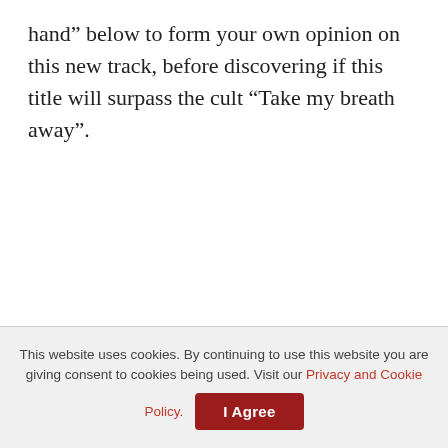hand” below to form your own opinion on this new track, before discovering if this title will surpass the cult “Take my breath away”.
This website uses cookies. By continuing to use this website you are giving consent to cookies being used. Visit our Privacy and Cookie Policy. | I Agree